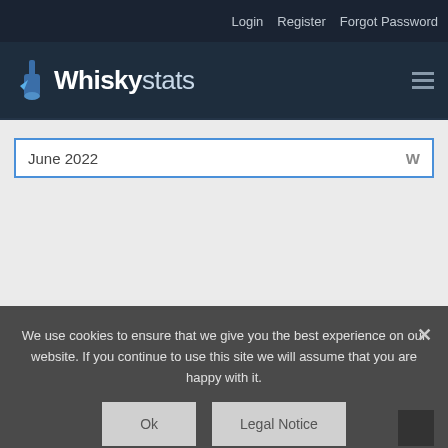Login   Register   Forgot Password
Whiskystats
June 2022   W
We use cookies to ensure that we give you the best experience on our website. If you continue to use this site we will assume that you are happy with it.
Ok   Legal Notice